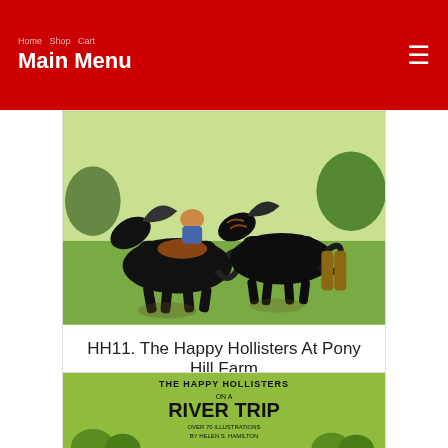Main Menu
[Figure (photo): Illustration of black horses running on a farm field with riders, book cover art for Happy Hollisters At Pony Hill Farm]
HH11. The Happy Hollisters At Pony Hill Farm
$11.95
[Figure (photo): Book cover for The Happy Hollisters On A River Trip, green background with illustrations, Over 70 Illustrations by Helen S. Hamilton]